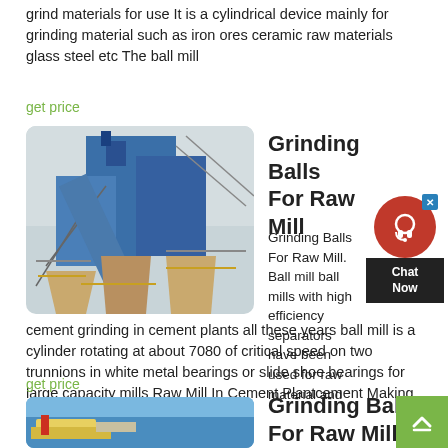grind materials for use It is a cylindrical device mainly for grinding material such as iron ores ceramic raw materials glass steel etc The ball mill
get price
[Figure (photo): Industrial grinding/ball mill machinery with blue metal structure, conveyor belts, and steel framework against a hazy sky]
Grinding Balls For Raw Mill
Grinding Balls For Raw Mill. Ball mill ball mills with high efficiency separators have been used for raw material and cement grinding in cement plants all these years ball mill is a cylinder rotating at about 7080 of critical speed on two trunnions in white metal bearings or slide shoe bearings for large capacity mills Raw Mill In Cement Plantcement Making Plant...
get price
Grinding Balls For Raw Mill Nageldesign
[Figure (photo): Industrial conveyor belt machinery with yellow and blue equipment against a blue sky, partially visible at bottom of page]